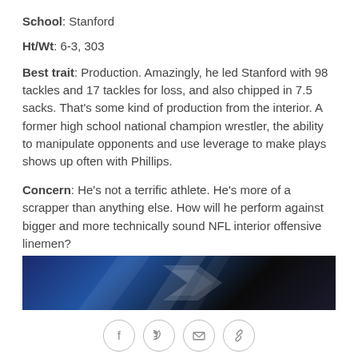School: Stanford
Ht/Wt: 6-3, 303
Best trait: Production. Amazingly, he led Stanford with 98 tackles and 17 tackles for loss, and also chipped in 7.5 sacks. That's some kind of production from the interior. A former high school national champion wrestler, the ability to manipulate opponents and use leverage to make plays shows up often with Phillips.
Concern: He's not a terrific athlete. He's more of a scrapper than anything else. How will he perform against bigger and more technically sound NFL interior offensive linemen?
[Figure (photo): Blue and dark sports broadcast background image strip]
[Figure (other): Social sharing icons: Facebook, Twitter, Email, Link]